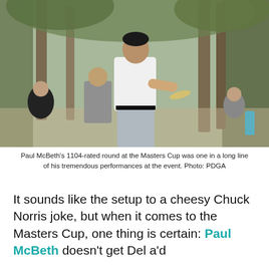[Figure (photo): Paul McBeth, a disc golfer in a white polo shirt and grey pants, is shown mid-follow-through after releasing a disc. Several other people stand in the background among trees.]
Paul McBeth's 1104-rated round at the Masters Cup was one in a long line of his tremendous performances at the event. Photo: PDGA
It sounds like the setup to a cheesy Chuck Norris joke, but when it comes to the Masters Cup, one thing is certain: Paul McBeth doesn't get Del a'd